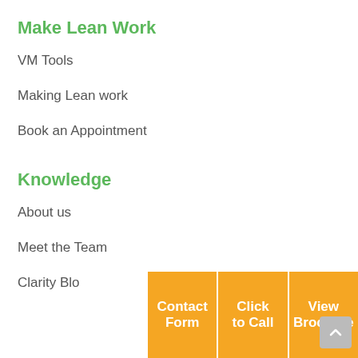Make Lean Work
VM Tools
Making Lean work
Book an Appointment
Knowledge
About us
Meet the Team
Clarity Blo
[Figure (other): Three orange call-to-action buttons at the bottom: Contact Form, Click to Call, View Brochure]